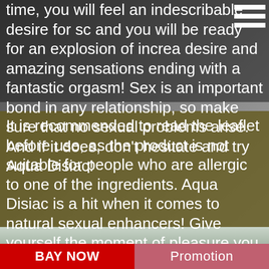time, you will feel an indescribable desire for sc and you will be ready for an explosion of increa desire and amazing sensations ending with a fantastic orgasm! Sex is an important bond in any relationship, so make sure that no sexual problems arise. And if it does, don't hesitate and try Aqua Disiac! It is recommended to read the leaflet before use, as the product is not suitable for people who are allergic to one of the ingredients. Aqua Disiac is a hit when it comes to natural sexual enhancers! Give yourself the moment of pleasure you deserve!
[Figure (photo): Background photo of a person, partially visible, with dark and grey tones. Upper portion has semi-transparent dark overlay; lower portion has olive/khaki colored semi-transparent overlay.]
BAY NOW
Promotion